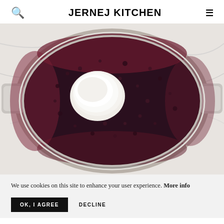JERNEJ KITCHEN
[Figure (photo): Overhead view of a stainless steel pot with dark blueberry jam bubbling, with a mound of white sugar or pectin powder in the center, on a marble surface]
We use cookies on this site to enhance your user experience. More info
OK, I AGREE    DECLINE